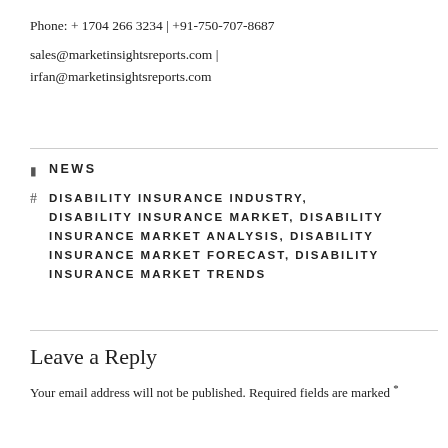Phone: + 1704 266 3234 | +91-750-707-8687
sales@marketinsightsreports.com | irfan@marketinsightsreports.com
NEWS
DISABILITY INSURANCE INDUSTRY, DISABILITY INSURANCE MARKET, DISABILITY INSURANCE MARKET ANALYSIS, DISABILITY INSURANCE MARKET FORECAST, DISABILITY INSURANCE MARKET TRENDS
Leave a Reply
Your email address will not be published. Required fields are marked *